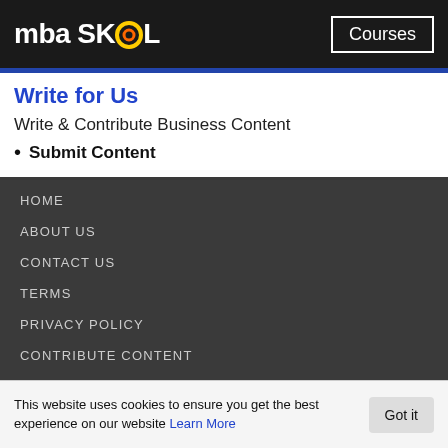mba SKOOL | Courses
Write for Us
Write & Contribute Business Content
Submit Content
HOME
ABOUT US
CONTACT US
TERMS
PRIVACY POLICY
CONTRIBUTE CONTENT
COLLEGES
This website uses cookies to ensure you get the best experience on our website Learn More Got it